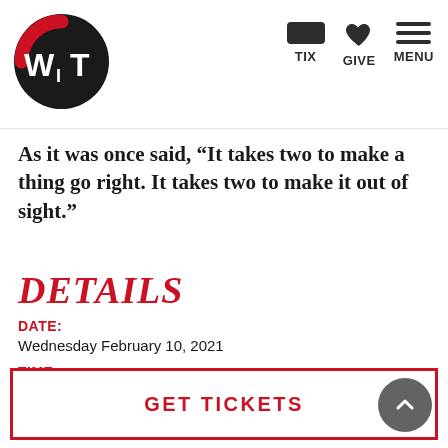[Figure (logo): WIT logo: black circle with red arc, white text W subscript I T]
TIX  GIVE  MENU
As it was once said, “It takes two to make a thing go right. It takes two to make it out of sight.”
DETAILS
DATE:
Wednesday February 10, 2021
TIME:
8:30 PM
GET TICKETS